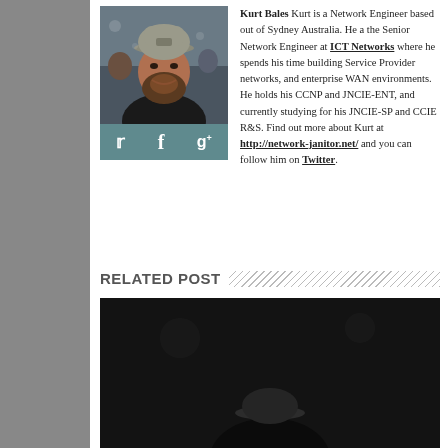[Figure (photo): Headshot photo of Kurt Bales, a bearded man wearing a cap, smiling at a crowded event]
Kurt Bales Kurt is a Network Engineer based out of Sydney Australia. He a the Senior Network Engineer at ICT Networks where he spends his time building Service Provider networks, and enterprise WAN environments. He holds his CCNP and JNCIE-ENT, and currently studying for his JNCIE-SP and CCIE R&S. Find out more about Kurt at http://network-janitor.net/ and you can follow him on Twitter.
RELATED POST
[Figure (photo): Related post thumbnail image — dark photo of a person wearing a cap]